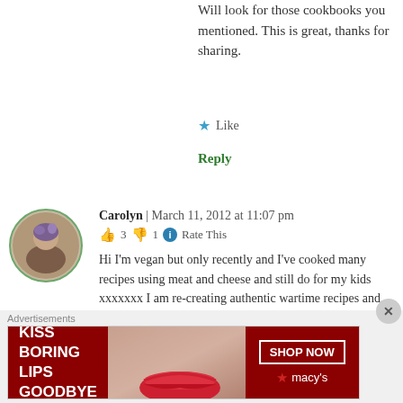Will look for those cookbooks you mentioned. This is great, thanks for sharing.
★ Like
Reply
[Figure (photo): Circular avatar photo of commenter Carolyn]
Carolyn | March 11, 2012 at 11:07 pm
👍 3 👎 1 ℹ Rate This
Hi I'm vegan but only recently and I've cooked many recipes using meat and cheese and still do for my kids xxxxxxx I am re-creating authentic wartime recipes and some of those do contain meat. I just don't eat the ones that contain meat or dairy anymore is all… or I make them up with
Advertisements
[Figure (infographic): Macy's advertisement banner: KISS BORING LIPS GOODBYE with SHOP NOW button and Macy's star logo]